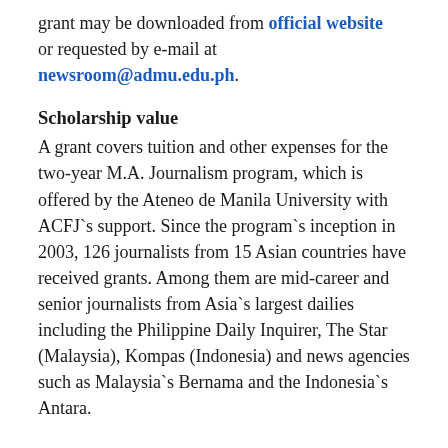grant may be downloaded from official website or requested by e-mail at newsroom@admu.edu.ph.
Scholarship value
A grant covers tuition and other expenses for the two-year M.A. Journalism program, which is offered by the Ateneo de Manila University with ACFJ`s support. Since the program`s inception in 2003, 126 journalists from 15 Asian countries have received grants. Among them are mid-career and senior journalists from Asia`s largest dailies including the Philippine Daily Inquirer, The Star (Malaysia), Kompas (Indonesia) and news agencies such as Malaysia`s Bernama and the Indonesia`s Antara.